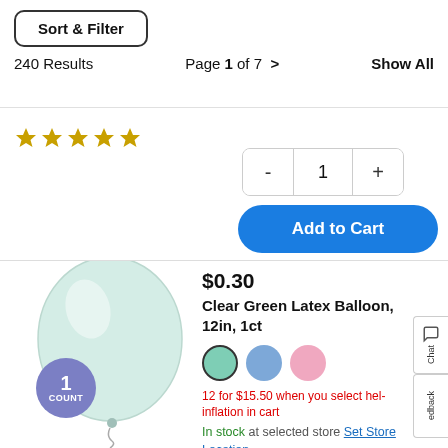Sort & Filter | 240 Results | Page 1 of 7 > | Show All
[Figure (screenshot): Partial view of star ratings from a previous product listing]
[Figure (screenshot): Quantity selector showing - 1 + controls and Add to Cart blue button]
[Figure (photo): Clear green latex balloon, 12 inches, with a '1 COUNT' badge in the lower left]
$0.30
Clear Green Latex Balloon, 12in, 1ct
12 for $15.50 when you select helium inflation in cart
In stock at selected store Set Store Location
Color Mint Green out of sto